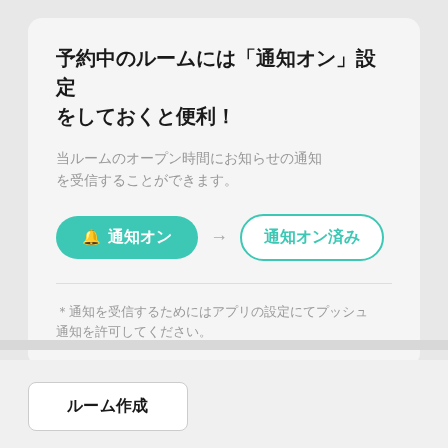予約中のルームには「通知オン」設定をしておくと便利！
当ルームのオープン時間にお知らせの通知を受信することができます。
[Figure (screenshot): Two buttons: a teal filled button '通知オン' with a bell icon, an arrow, and an outlined teal button '通知オン済み']
＊通知を受信するためにはアプリの設定にてプッシュ通知を許可してください。
ルーム作成